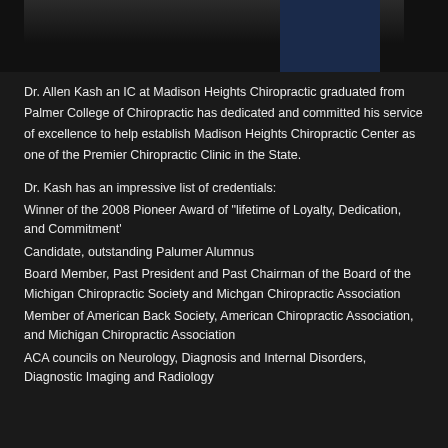[Figure (photo): Partial photo of Dr. Allen Kash, showing dark background with figure in dark clothing and blue jacket visible on the right side]
Dr. Allen Kash an IC at Madison Heights Chiropractic graduated from Palmer College of Chiropractic has dedicated and committed his service of excellence to help establish Madison Heights Chiropractic Center as one of the Premier Chiropractic Clinic in the State.
Dr. Kash has an impressive list of credentials:
Winner of the 2008 Pioneer Award of "lifetime of Loyalty, Dedication, and Commitment'
Candidate, outstanding Palumer Alumnus
Board Member, Past President and Past Chairman of the Board of the Michigan Chiropractic Society and Michgan Chiropractic Association
Member of American Back Society, American Chiropractic Association, and Michigan Chiropractic Association
ACA councils on Neurology, Diagnosis and Internal Disorders, Diagnostic Imaging and Radiology